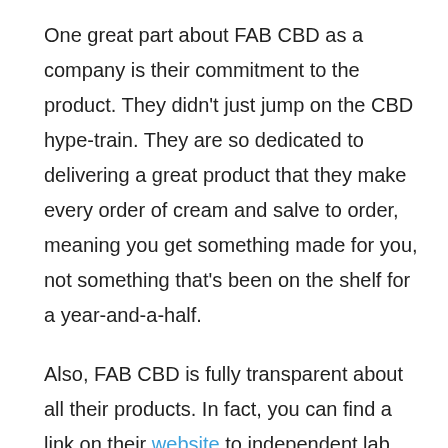One great part about FAB CBD as a company is their commitment to the product. They didn't just jump on the CBD hype-train. They are so dedicated to delivering a great product that they make every order of cream and salve to order, meaning you get something made for you, not something that's been on the shelf for a year-and-a-half.
Also, FAB CBD is fully transparent about all their products. In fact, you can find a link on their website to independent lab reports about their products. We know that trying CBD products for the first time can cause a little doubt or worry, especially going over the internet. Making their lab-reports available to anyone is one of the top reasons we called FAB our Best Brand